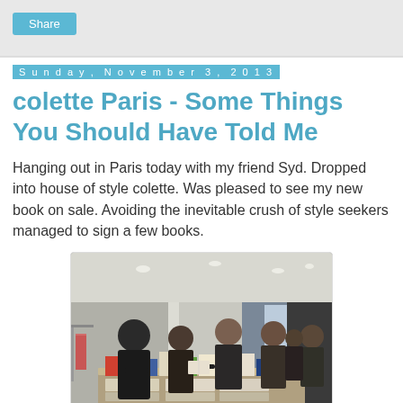Share
Sunday, November 3, 2013
colette Paris - Some Things You Should Have Told Me
Hanging out in Paris today with my friend Syd. Dropped into house of style colette. Was pleased to see my new book on sale. Avoiding the inevitable crush of style seekers managed to sign a few books.
[Figure (photo): Interior of colette Paris store with people browsing books on a display table, clothing racks visible in background, modern retail space with overhead lighting.]